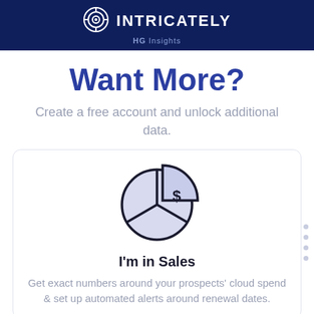INTRICATELY HG Insights
Want More?
Create a free account and unlock additional data.
[Figure (illustration): Pie chart icon with a dollar sign symbol, partially exploded slice, in light purple/lavender fill with dark outlines]
I'm in Sales
Get exact numbers around your prospects' cloud spend & set up automated alerts around renewal dates.